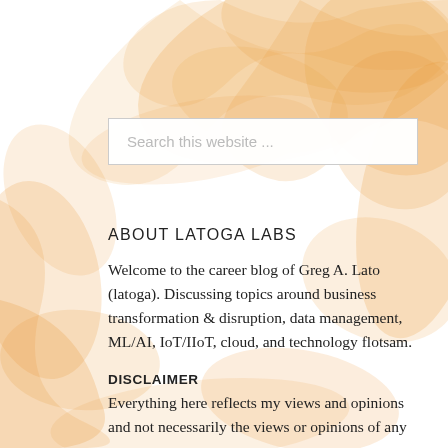[Figure (illustration): Orange smoke or ink swirls on white background, decorative full-page background image]
Search this website ...
ABOUT LATOGA LABS
Welcome to the career blog of Greg A. Lato (latoga). Discussing topics around business transformation & disruption, data management, ML/AI, IoT/IIoT, cloud, and technology flotsam.
DISCLAIMER
Everything here reflects my views and opinions and not necessarily the views or opinions of any